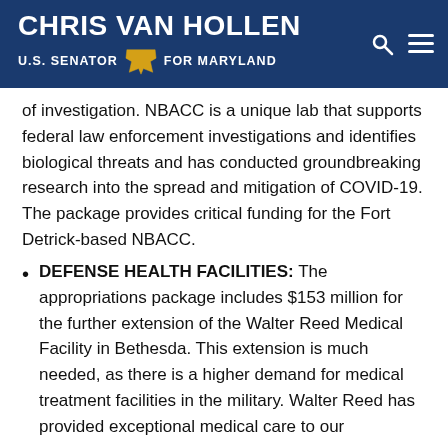CHRIS VAN HOLLEN U.S. SENATOR FOR MARYLAND
of investigation. NBACC is a unique lab that supports federal law enforcement investigations and identifies biological threats and has conducted groundbreaking research into the spread and mitigation of COVID-19. The package provides critical funding for the Fort Detrick-based NBACC.
DEFENSE HEALTH FACILITIES: The appropriations package includes $153 million for the further extension of the Walter Reed Medical Facility in Bethesda. This extension is much needed, as there is a higher demand for medical treatment facilities in the military. Walter Reed has provided exceptional medical care to our